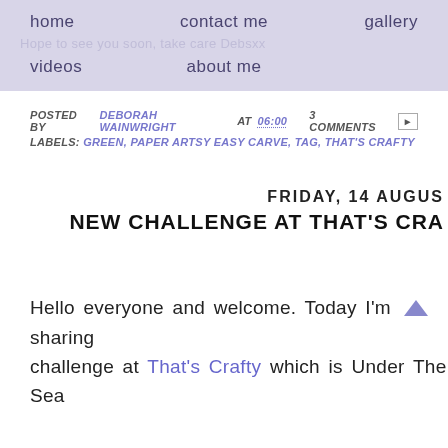home  contact me  gallery
Hope to see you soon, take care Debsxx
videos  about me
POSTED BY DEBORAH WAINWRIGHT AT 06:00   3 COMMENTS
LABELS: GREEN, PAPER ARTSY EASY CARVE, TAG, THAT'S CRAFTY
FRIDAY, 14 AUGUS
NEW CHALLENGE AT THAT'S CRA
Hello everyone and welcome. Today I'm sharing challenge at That's Crafty which is Under The Sea